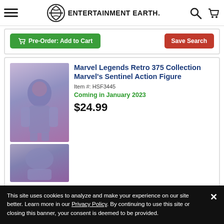Entertainment Earth
Pre-Order: Add to Cart | Save Search
Marvel Legends Retro 375 Collection Marvel's Sentinel Action Figure
Item #: HSF3445
Coming in January 2023
$24.99
Pre-Order: Add to Cart
Marvel Legends Retro 375 Collection Green Goblin 3 3/4-Inch Action Figure
Item #: HSF3820
This site uses cookies to analyze and make your experience on our site better. Learn more in our Privacy Policy. By continuing to use this site or closing this banner, your consent is deemed to be provided.